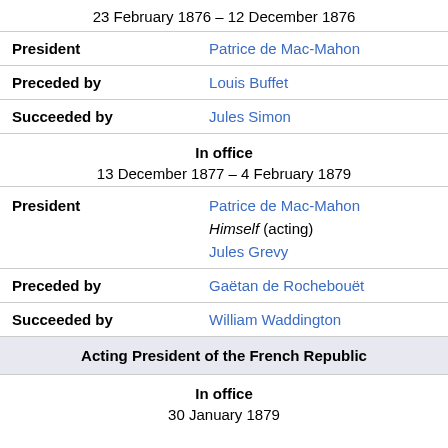| (In office header - partial) | 23 February 1876 – 12 December 1876 |
| President | Patrice de Mac-Mahon |
| Preceded by | Louis Buffet |
| Succeeded by | Jules Simon |
| In office | 13 December 1877 – 4 February 1879 |
| President | Patrice de Mac-Mahon / Himself (acting) / Jules Grevy |
| Preceded by | Gaëtan de Rochebouët |
| Succeeded by | William Waddington |
| Acting President of the French Republic |  |
| In office | 30 January 1879 |